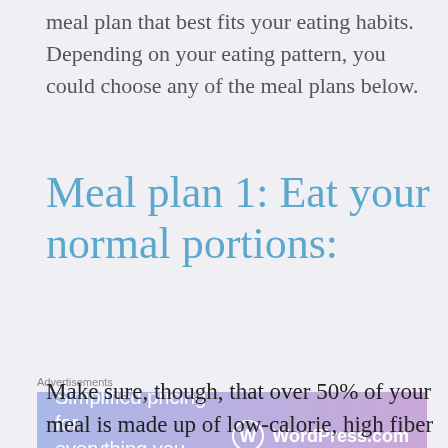meal plan that best fits your eating habits. Depending on your eating pattern, you could choose any of the meal plans below.
Meal plan 1: Eat your normal portions:
[Figure (screenshot): Advertisement banner for WordPress.com: 'Simplified pricing for everything you need.']
Make sure, though, that over 50% of your meal is made up of low-calorie, high fiber foods. Foods like vegetables are a good way to fill up